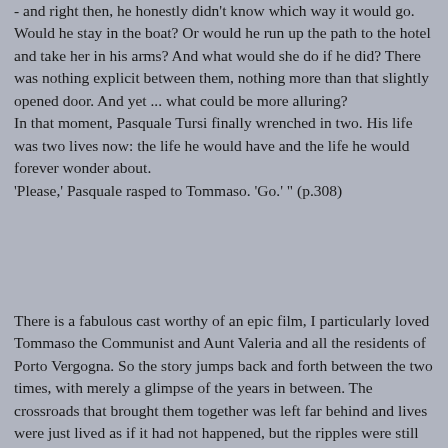- and right then, he honestly didn't know which way it would go. Would he stay in the boat? Or would he run up the path to the hotel and take her in his arms? And what would she do if he did? There was nothing explicit between them, nothing more than that slightly opened door. And yet ... what could be more alluring?
In that moment, Pasquale Tursi finally wrenched in two. His life was two lives now: the life he would have and the life he would forever wonder about.
'Please,' Pasquale rasped to Tommaso. 'Go.' " (p.308)
There is a fabulous cast worthy of an epic film, I particularly loved Tommaso the Communist and Aunt Valeria and all the residents of Porto Vergogna. So the story jumps back and forth between the two times, with merely a glimpse of the years in between. The crossroads that brought them together was left far behind and lives were just lived as if it had not happened, but the ripples were still there, lapping at the shore and sometimes you just have to know. It is really about the chaotic nature of life and how people's choices and decisions impact on each other, and that maybe after all the chaos things will quieten down and you might finally find